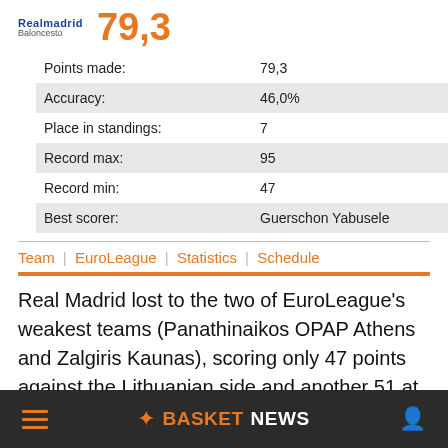[Figure (logo): Real Madrid Baloncesto logo with score 79,3]
| Stat | Value |
| --- | --- |
| Points made: | 79,3 |
| Accuracy: | 46,0% |
| Place in standings: | 7 |
| Record max: | 95 |
| Record min: | 47 |
| Best scorer: | Guerschon Yabusele |
Team | EuroLeague | Statistics | Schedule
Real Madrid lost to the two of EuroLeague's weakest teams (Panathinaikos OPAP Athens and Zalgiris Kaunas), scoring only 47 points against the Lithuanian side and another 51 at Fenerbahce.
BASKETNEWS